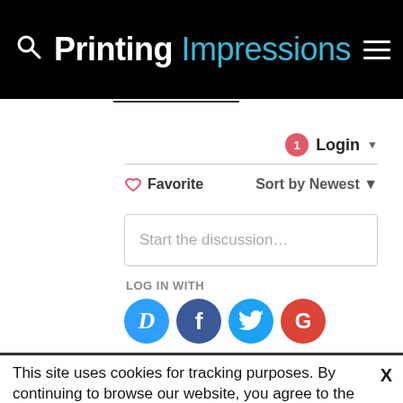Printing Impressions
1 Login
♡ Favorite   Sort by Newest
Start the discussion…
LOG IN WITH
[Figure (illustration): Social login icons: Disqus (D), Facebook (f), Twitter bird, Google (G)]
This site uses cookies for tracking purposes. By continuing to browse our website, you agree to the storing of first- and third-party cookies on your device to enhance site navigation, analyze site usage, and assist in our marketing and
Accept and Close ✕
Your browser settings do not allow cross-site tracking for advertising. Click on this page to allow AdRoll to use cross-site tracking to tailor ads to you. Learn more or opt out of this AdRoll tracking by clicking here. This message only appears once.